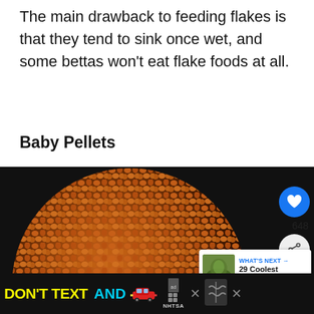The main drawback to feeding flakes is that they tend to sink once wet, and some bettas won't eat flake foods at all.
Baby Pellets
[Figure (photo): Circular close-up photo of small brown/orange fish pellets (baby betta pellets) filling the frame, with a dark background]
[Figure (infographic): WHAT'S NEXT arrow label with thumbnail image and text '29 Coolest Fish Specie...']
[Figure (infographic): Advertisement banner: DON'T TEXT AND (drive) with red car icon, ad badge, NHTSA logo, close buttons]